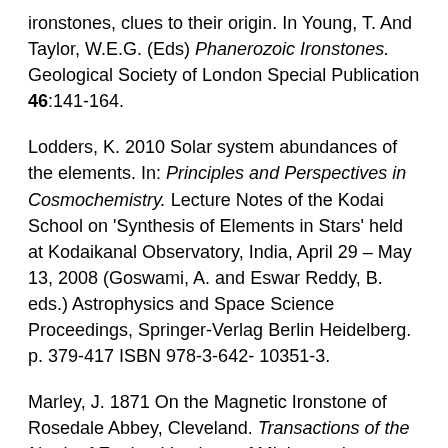ironstones, clues to their origin. In Young, T. And Taylor, W.E.G. (Eds) Phanerozoic Ironstones. Geological Society of London Special Publication 46:141-164.
Lodders, K. 2010 Solar system abundances of the elements. In: Principles and Perspectives in Cosmochemistry. Lecture Notes of the Kodai School on 'Synthesis of Elements in Stars' held at Kodaikanal Observatory, India, April 29 – May 13, 2008 (Goswami, A. and Eswar Reddy, B. eds.) Astrophysics and Space Science Proceedings, Springer-Verlag Berlin Heidelberg. p. 379-417 ISBN 978-3-642- 10351-3.
Marley, J. 1871 On the Magnetic Ironstone of Rosedale Abbey, Cleveland. Transactions of the North of England Institute of Mining and Mechanical Engineers. 19, 193-199.